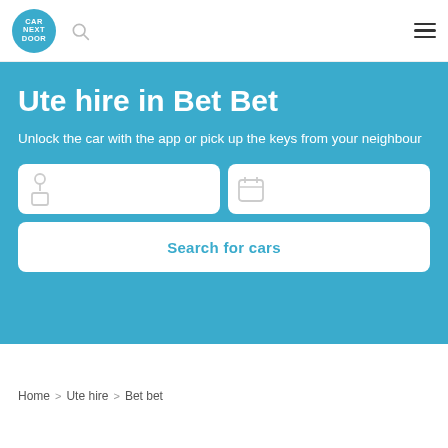[Figure (logo): Car Next Door logo — circular teal badge with white text reading CAR NEXT DOOR, search icon, and hamburger menu icon in navbar]
Ute hire in Bet Bet
Unlock the car with the app or pick up the keys from your neighbour
[Figure (screenshot): Two search input boxes side by side (location/date fields with icons) and a Search for cars button below, on teal background]
Home > Ute hire > Bet bet